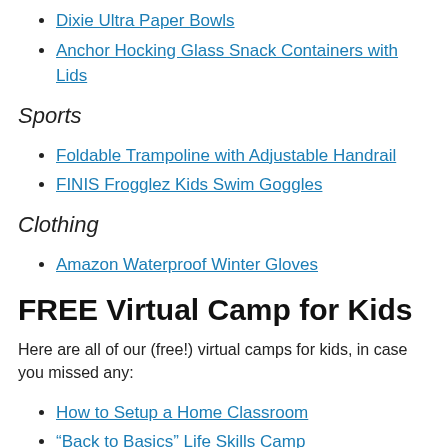Dixie Ultra Paper Bowls
Anchor Hocking Glass Snack Containers with Lids
Sports
Foldable Trampoline with Adjustable Handrail
FINIS Frogglez Kids Swim Goggles
Clothing
Amazon Waterproof Winter Gloves
FREE Virtual Camp for Kids
Here are all of our (free!) virtual camps for kids, in case you missed any:
How to Setup a Home Classroom
“Back to Basics” Life Skills Camp